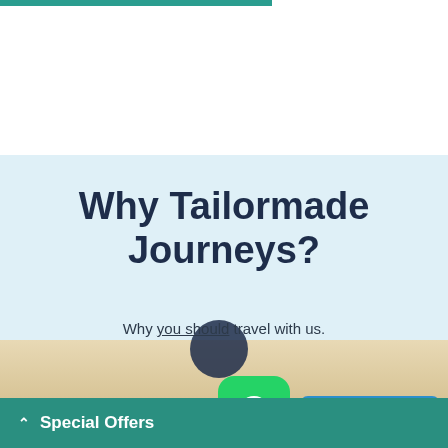Why Tailormade Journeys?
Why you should travel with us.
Special Offers